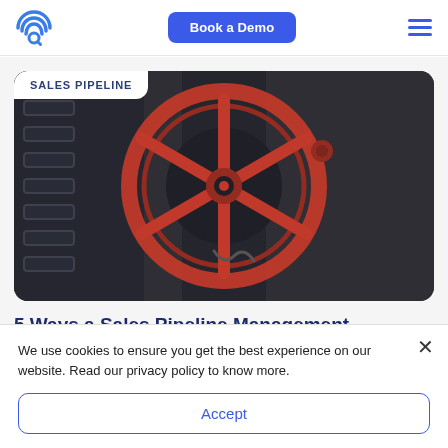[Figure (logo): Circular logo with blue WiFi/signal waves and a 'Q' shape]
Book a Demo
[Figure (illustration): Red industrial valve wheel on dark metallic background with 'SALES PIPELINE' tag]
5 Ways a Sales Pipeline Management
We use cookies to ensure you get the best experience on our website. Read our privacy policy to know more.
Accept